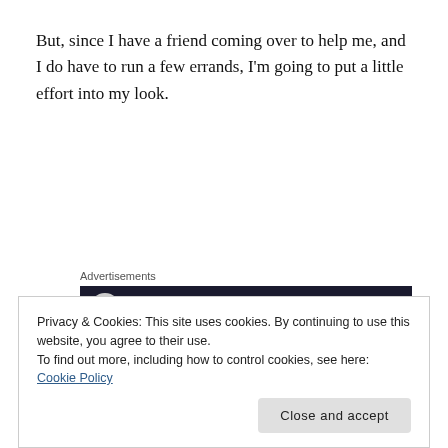But, since I have a friend coming over to help me, and I do have to run a few errands, I'm going to put a little effort into my look.
[Figure (screenshot): Advertisements banner with dark background showing 'Turn your blog into a...' text in teal]
I've chosen my skinny black pants- these are like wearing sweatpants, they are very comfy! I've added
Privacy & Cookies: This site uses cookies. By continuing to use this website, you agree to their use.
To find out more, including how to control cookies, see here: Cookie Policy
Close and accept